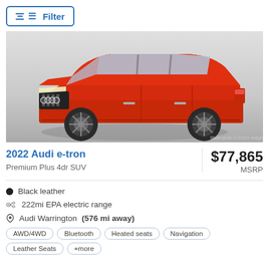[Figure (screenshot): Filter button with horizontal lines icon in top-left corner, styled with blue border and text]
[Figure (photo): 2022 Audi e-tron red SUV on grey gradient background, stock photo © EVOX Images]
2022 Audi e-tron
Premium Plus 4dr SUV
$77,865 MSRP
Black leather
222mi EPA electric range
Audi Warrington (576 mi away)
AWD/4WD  Bluetooth  Heated seats  Navigation
Leather Seats  +more